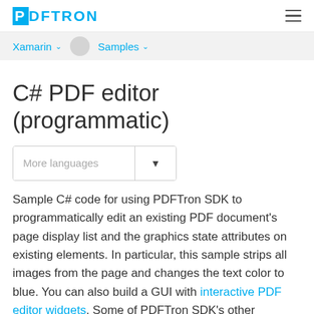PDFTRON
Xamarin ∨   Samples ∨
C# PDF editor (programmatic)
More languages ▼
Sample C# code for using PDFTron SDK to programmatically edit an existing PDF document's page display list and the graphics state attributes on existing elements. In particular, this sample strips all images from the page and changes the text color to blue. You can also build a GUI with interactive PDF editor widgets. Some of PDFTron SDK's other